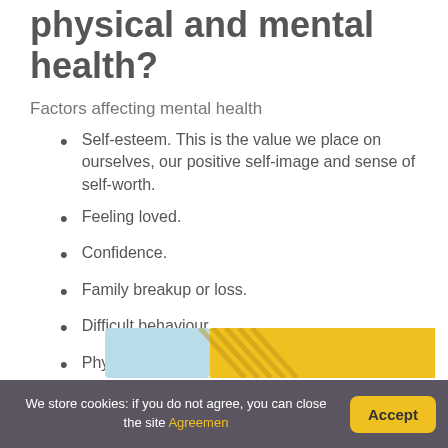physical and mental health?
Factors affecting mental health
Self-esteem. This is the value we place on ourselves, our positive self-image and sense of self-worth.
Feeling loved.
Confidence.
Family breakup or loss.
Difficult behaviour.
Physical ill health.
Abuse.
[Figure (illustration): Partial image strip showing light blue and yellow/gold sections with diagonal pattern overlay]
We store cookies: if you do not agree, you can close the site Agreemen
Accept